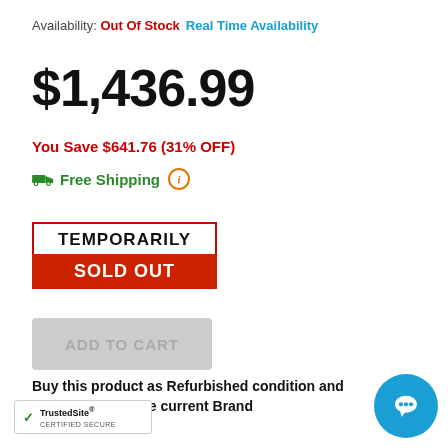Availability: Out Of Stock  Real Time Availability
$1,436.99
You Save $641.76 (31% OFF)
Free Shipping (i)
[Figure (other): Temporarily Sold Out badge: red bordered box with 'TEMPORARILY' in black on white, 'SOLD OUT' in white on red background]
[Figure (other): Greyed out ADD TO CART button]
Buy this product as Refurbished condition and save $474.0 off the current Brand
[Figure (logo): TrustedSite Certified Secure badge with green checkmark]
[Figure (other): Blue circular chat bubble button]